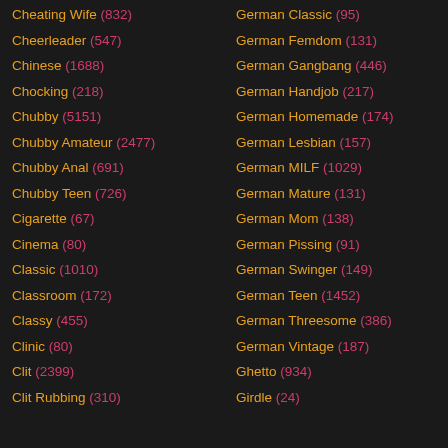Cheating Wife (832)
Cheerleader (547)
Chinese (1688)
Chocking (218)
Chubby (5151)
Chubby Amateur (2477)
Chubby Anal (691)
Chubby Teen (726)
Cigarette (67)
Cinema (80)
Classic (1010)
Classroom (172)
Classy (455)
Clinic (80)
Clit (2399)
Clit Rubbing (310)
German Classic (95)
German Femdom (131)
German Gangbang (446)
German Handjob (217)
German Homemade (174)
German Lesbian (157)
German MILF (1029)
German Mature (131)
German Mom (138)
German Pissing (91)
German Swinger (149)
German Teen (1452)
German Threesome (386)
German Vintage (187)
Ghetto (934)
Girdle (24)